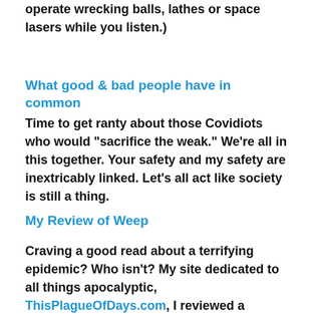operate wrecking balls, lathes or space lasers while you listen.)
What good & bad people have in common
Time to get ranty about those Covidiots who would “sacrifice the weak.” We’re all in this together. Your safety and my safety are inextricably linked. Let’s all act like society is still a thing.
My Review of Weep
Craving a good read about a terrifying epidemic? Who isn’t? My site dedicated to all things apocalyptic, ThisPlagueOfDays.com, I reviewed a zombie apocalypse novel by Eoin Brady. If you’re into the horror genre, you will enjoy Weep. Smarter than your